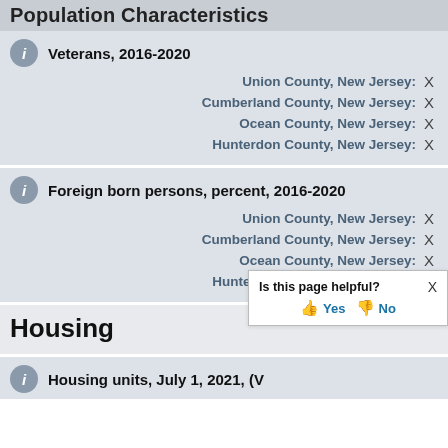Population Characteristics
Veterans, 2016-2020
Union County, New Jersey: X
Cumberland County, New Jersey: X
Ocean County, New Jersey: X
Hunterdon County, New Jersey: X
Foreign born persons, percent, 2016-2020
Union County, New Jersey: X
Cumberland County, New Jersey: X
Ocean County, New Jersey: X
Hunterdon County, New Jersey: X
Housing
Housing units, July 1, 2021, (V2021)